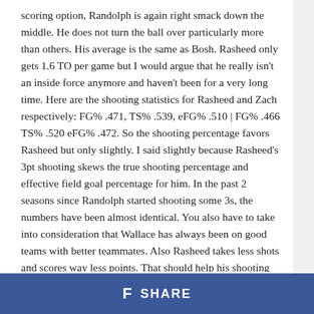scoring option, Randolph is again right smack down the middle. He does not turn the ball over particularly more than others. His average is the same as Bosh. Rasheed only gets 1.6 TO per game but I would argue that he really isn't an inside force anymore and haven't been for a very long time. Here are the shooting statistics for Rasheed and Zach respectively: FG% .471, TS% .539, eFG% .510 | FG% .466 TS% .520 eFG% .472. So the shooting percentage favors Rasheed but only slightly. I said slightly because Rasheed's 3pt shooting skews the true shooting percentage and effective field goal percentage for him. In the past 2 seasons since Randolph started shooting some 3s, the numbers have been almost identical. You also have to take into consideration that Wallace has always been on good teams with better teammates. Also Rasheed takes less shots and scores way less points. That should help his shooting % in theory
f SHARE